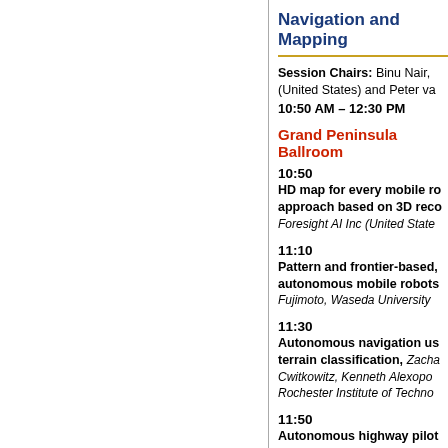Navigation and Mapping
Session Chairs: Binu Nair, (United States) and Peter va
10:50 AM – 12:30 PM
Grand Peninsula Ballroom
10:50
HD map for every mobile ro approach based on 3D reco
Foresight AI Inc (United State
11:10
Pattern and frontier-based, autonomous mobile robots
Fujimoto, Waseda University
11:30
Autonomous navigation us terrain classification, Zacha Cwitkowitz, Kenneth Alexopo Rochester Institute of Techno
11:50
Autonomous highway pilot